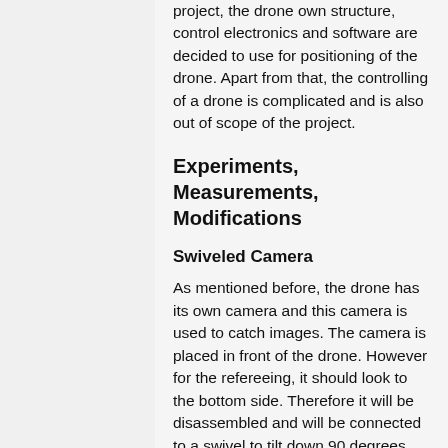project, the drone own structure, control electronics and software are decided to use for positioning of the drone. Apart from that, the controlling of a drone is complicated and is also out of scope of the project.
Experiments, Measurements, Modifications
Swiveled Camera
As mentioned before, the drone has its own camera and this camera is used to catch images. The camera is placed in front of the drone. However for the refereeing, it should look to the bottom side. Therefore it will be disassembled and will be connected to a swivel to tilt down 90 degrees. This will create some change in the structures. When this change is finished, it will be added here.
Software Restrictions on Image Processing
Using a commercial and non-modifiable drone in this manner brings some difficulties. Since